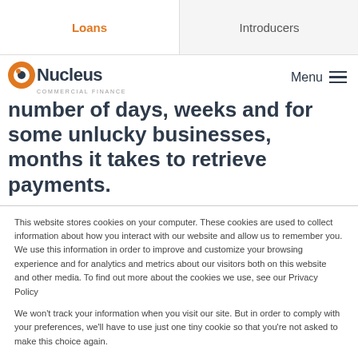Loans | Introducers
[Figure (logo): Nucleus Commercial Finance logo with orange circle icon and company name]
number of days, weeks and for some unlucky businesses, months it takes to retrieve payments.
This website stores cookies on your computer. These cookies are used to collect information about how you interact with our website and allow us to remember you. We use this information in order to improve and customize your browsing experience and for analytics and metrics about our visitors both on this website and other media. To find out more about the cookies we use, see our Privacy Policy
We won't track your information when you visit our site. But in order to comply with your preferences, we'll have to use just one tiny cookie so that you're not asked to make this choice again.
Accept | Decline